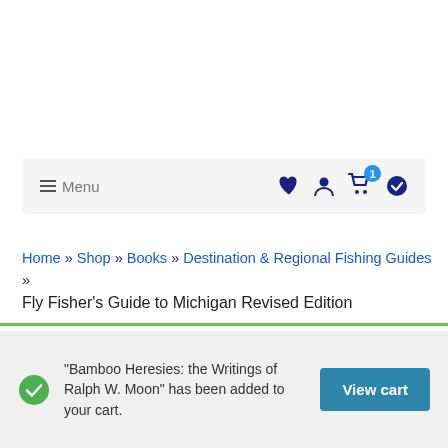≡ Menu | ♥ 👤 🛒(1) ✅
Home » Shop » Books » Destination & Regional Fishing Guides » Fly Fisher's Guide to Michigan Revised Edition
"Bamboo Heresies: the Writings of Ralph W. Moon" has been added to your cart. [View cart]